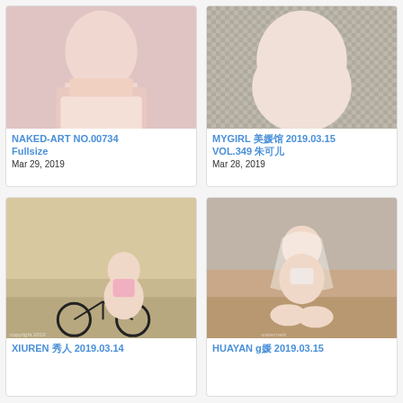[Figure (photo): Partial photo of a woman in a light pink top]
NAKED-ART NO.00734 Fullsize
Mar 29, 2019
[Figure (photo): Partial photo of a woman in white lingerie on a patterned background]
MYGIRL 美媛馆 2019.03.15 VOL.349 朱可儿
Mar 28, 2019
[Figure (photo): Photo of a woman in pink outfit near a bicycle on sand]
XIUREN 秀人 2019.03.14
[Figure (photo): Photo of a woman in white bridal lingerie kneeling]
HUAYAN g媛 2019.03.15